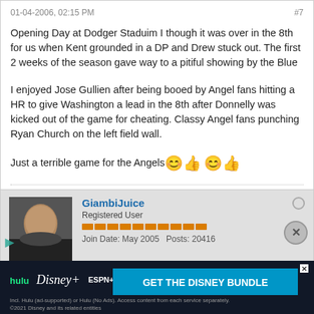01-04-2006, 02:15 PM
#7
Opening Day at Dodger Staduim I though it was over in the 8th for us when Kent grounded in a DP and Drew stuck out. The first 2 weeks of the season gave way to a pitiful showing by the Blue
I enjoyed Jose Gullien after being booed by Angel fans hitting a HR to give Washington a lead in the 8th after Donnelly was kicked out of the game for cheating. Classy Angel fans punching Ryan Church on the left field wall.
Just a terrible game for the Angels 😊👍 😊👍
GiambiJuice
Registered User
Join Date: May 2005   Posts: 20416
01-04-200...
#8
June 21...